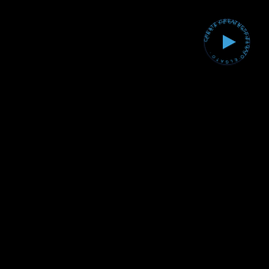[Figure (logo): Elgato circular logo with text 'CREATE GREATNESS · ELGATO ·' arranged in a circle around a blue play button triangle arrow icon, positioned in the upper right area of a black background page]